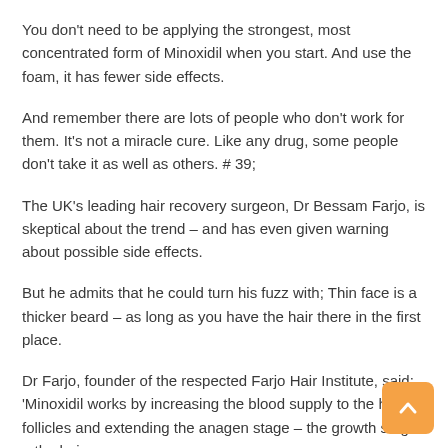You don't need to be applying the strongest, most concentrated form of Minoxidil when you start. And use the foam, it has fewer side effects.
And remember there are lots of people who don't work for them. It's not a miracle cure. Like any drug, some people don't take it as well as others. # 39;
The UK's leading hair recovery surgeon, Dr Bessam Farjo, is skeptical about the trend – and has even given warning about possible side effects.
But he admits that he could turn his fuzz with; Thin face is a thicker beard – as long as you have the hair there in the first place.
Dr Farjo, founder of the respected Farjo Hair Institute, said: 'Minoxidil works by increasing the blood supply to the hair follicles and extending the anagen stage – the growth stage – the hair.